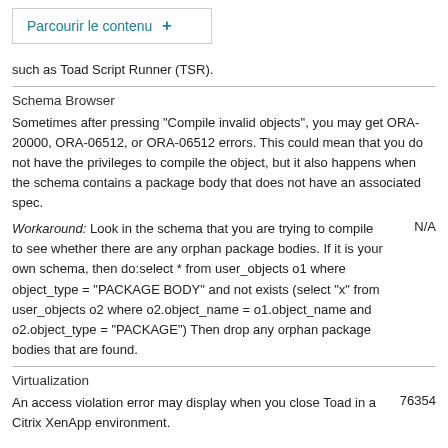Parcourir le contenu +
such as Toad Script Runner (TSR).
Schema Browser
Sometimes after pressing "Compile invalid objects", you may get ORA-20000, ORA-06512, or ORA-06512 errors. This could mean that you do not have the privileges to compile the object, but it also happens when the schema contains a package body that does not have an associated spec.
Workaround: Look in the schema that you are trying to compile to see whether there are any orphan package bodies. If it is your own schema, then do:select * from user_objects o1 where object_type = "PACKAGE BODY" and not exists (select "x" from user_objects o2 where o2.object_name = o1.object_name and o2.object_type = "PACKAGE") Then drop any orphan package bodies that are found.
Virtualization
An access violation error may display when you close Toad in a Citrix XenApp environment.